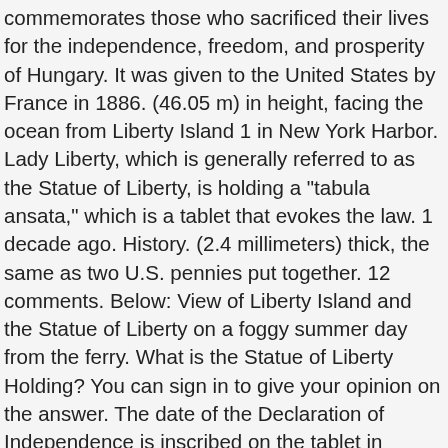commemorates those who sacrificed their lives for the independence, freedom, and prosperity of Hungary. It was given to the United States by France in 1886. (46.05 m) in height, facing the ocean from Liberty Island 1 in New York Harbor. Lady Liberty, which is generally referred to as the Statue of Liberty, is holding a "tabula ansata," which is a tablet that evokes the law. 1 decade ago. History. (2.4 millimeters) thick, the same as two U.S. pennies put together. 12 comments. Below: View of Liberty Island and the Statue of Liberty on a foggy summer day from the ferry. What is the Statue of Liberty Holding? You can sign in to give your opinion on the answer. The date of the Declaration of Independence is inscribed on the tablet in Roman numerals – JULY IV MDCCLXXVI (July 4, 1776). The tablet is inscribed with the date July 4, 1776, which is the date of the signing of the Declaration of Independence. Apart from being a symbol of enlightenment, Statue of Liberty torch can also be interpreted several different ways. Lady Liberty, which is generally referred to as the Statue of Liberty, is holding a